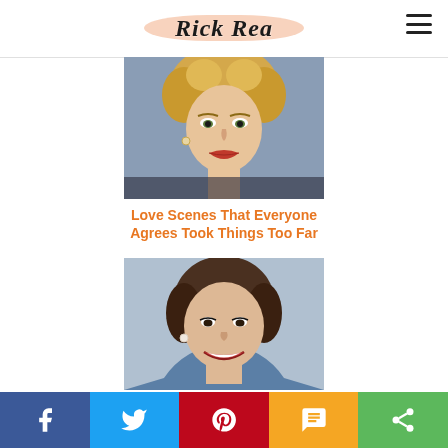Rick Rea
[Figure (photo): Portrait photo of a young blonde woman with curly hair and heavy makeup, close-up face shot]
Love Scenes That Everyone Agrees Took Things Too Far
[Figure (photo): Portrait photo of a smiling middle-aged woman with dark bob haircut and pearl earring]
Share bar with Facebook, Twitter, Pinterest, SMS, and Share buttons